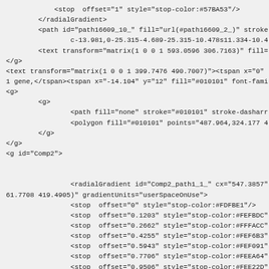SVG/XML source code showing radialGradient, path, text, polygon, and g elements with various attributes and coordinate values.